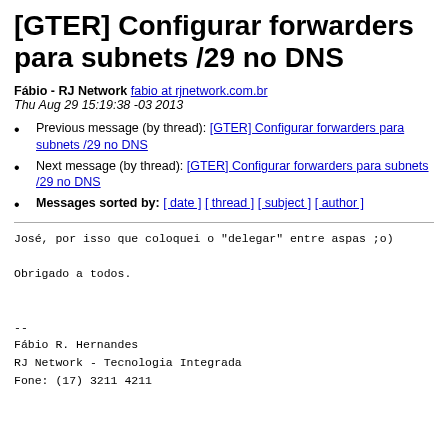[GTER] Configurar forwarders para subnets /29 no DNS
Fábio - RJ Network fabio at rjnetwork.com.br
Thu Aug 29 15:19:38 -03 2013
Previous message (by thread): [GTER] Configurar forwarders para subnets /29 no DNS
Next message (by thread): [GTER] Configurar forwarders para subnets /29 no DNS
Messages sorted by: [ date ] [ thread ] [ subject ] [ author ]
José, por isso que coloquei o "delegar" entre aspas ;o)

Obrigado a todos.


--
Fábio R. Hernandes
RJ Network - Tecnologia Integrada
Fone: (17) 3211 4211